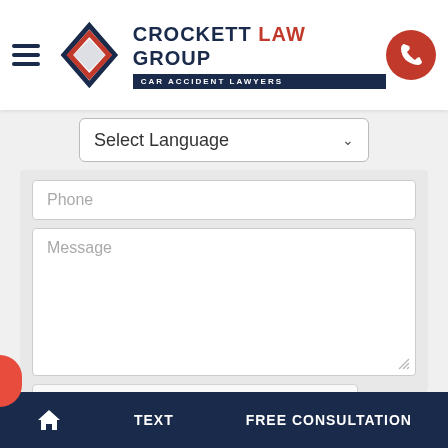[Figure (logo): Crockett Law Group logo with diamond/shield icon in red and navy, text reading CROCKETT LAW GROUP CAR ACCIDENT LAWYERS]
Select Language
Phone
Message
[Figure (other): reCAPTCHA widget with checkbox, 'I'm not a robot' text, reCAPTCHA logo, Privacy and Terms links]
SEND
HOME   TEXT   FREE CONSULTATION